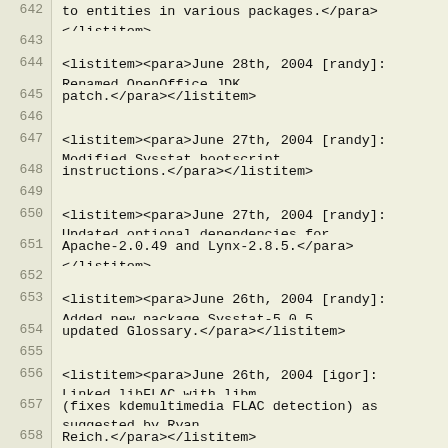642: to entities in various packages.</para></listitem>
643: (blank)
644: <listitem><para>June 28th, 2004 [randy]: Renamed OpenOffice JDK
645: patch.</para></listitem>
646: (blank)
647: <listitem><para>June 27th, 2004 [randy]: Modified Sysstat bootscript
648: instructions.</para></listitem>
649: (blank)
650: <listitem><para>June 27th, 2004 [randy]: Updated optional dependencies for
651: Apache-2.0.49 and Lynx-2.8.5.</para></listitem>
652: (blank)
653: <listitem><para>June 26th, 2004 [randy]: Added new package Sysstat-5.0.5,
654: updated Glossary.</para></listitem>
655: (blank)
656: <listitem><para>June 26th, 2004 [igor]: Linked libFLAC with libm
657: (fixes kdemultimedia FLAC detection) as suggested by Ryan
658: Reich.</para></listitem>